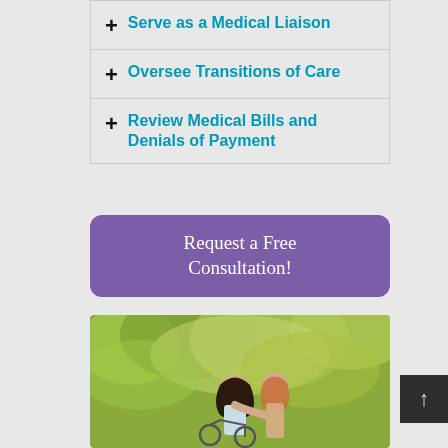+ Serve as a Medical Liaison
+ Oversee Transitions of Care
+ Review Medical Bills and Denials of Payment
Request a Free Consultation!
[Figure (photo): A young woman with long dark hair leaning over and embracing a person in a wheelchair outdoors, with green foliage in the background.]